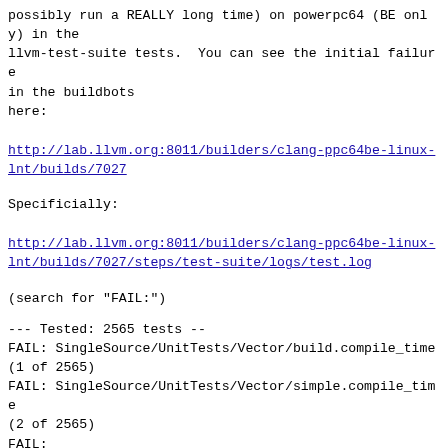llvm-test-suite tests.  You can see the initial failure in the buildbots
here:
http://lab.llvm.org:8011/builders/clang-ppc64be-linux-lnt/builds/7027
Specificially:
http://lab.llvm.org:8011/builders/clang-ppc64be-linux-lnt/builds/7027/steps/test-suite/logs/test.log
(search for "FAIL:")
--- Tested: 2565 tests --
FAIL: SingleSource/UnitTests/Vector/build.compile_time
(1 of 2565)
FAIL: SingleSource/UnitTests/Vector/simple.compile_time
(2 of 2565)
FAIL:
SingleSource/UnitTests/Vector/build.execution_time (514
of 2565)
FAIL:
SingleSource/UnitTests/Vector/simple.execution_time
(515 of 2565)